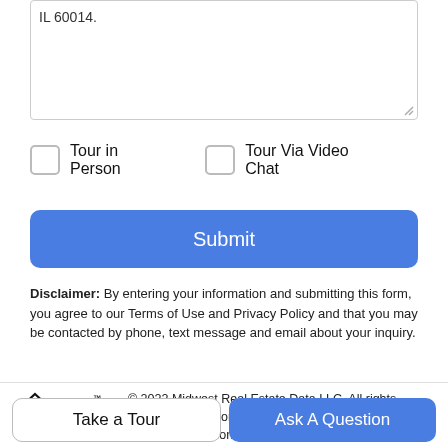IL 60014.
Tour in Person
Tour Via Video Chat
Submit
Disclaimer: By entering your information and submitting this form, you agree to our Terms of Use and Privacy Policy and that you may be contacted by phone, text message and email about your inquiry.
[Figure (logo): Broker Reciprocity logo with house icon]
© 2022 Midwest Real Estate Data LLC. All rights reserved. IDX information is provided exclusively for consumers' personal, non-commercial use and may not be
Take a Tour
Ask A Question